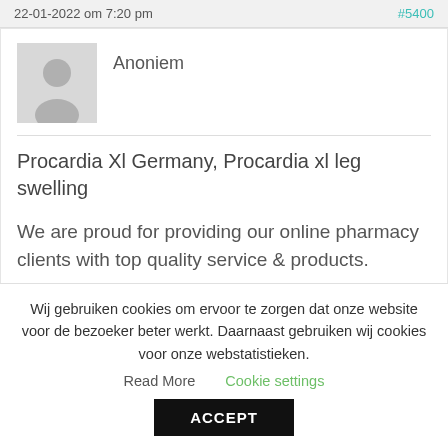22-01-2022 om 7:20 pm   #5400
Anoniem
Procardia Xl Germany, Procardia xl leg swelling
We are proud for providing our online pharmacy clients with top quality service & products.
Wij gebruiken cookies om ervoor te zorgen dat onze website voor de bezoeker beter werkt. Daarnaast gebruiken wij cookies voor onze webstatistieken.  Read More  Cookie settings  ACCEPT